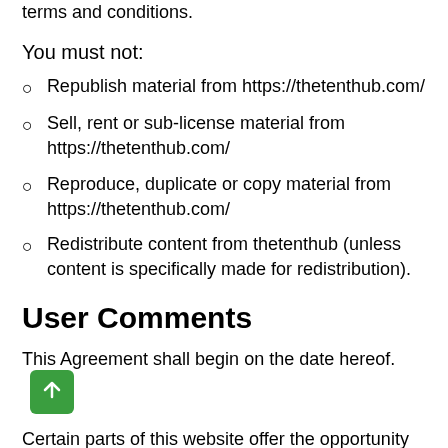terms and conditions.
You must not:
Republish material from https://thetenthub.com/
Sell, rent or sub-license material from https://thetenthub.com/
Reproduce, duplicate or copy material from https://thetenthub.com/
Redistribute content from thetenthub (unless content is specifically made for redistribution).
User Comments
This Agreement shall begin on the date hereof.
Certain parts of this website offer the opportunity for